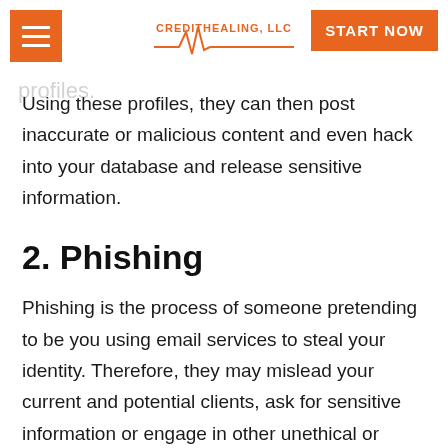CreditHealing, LLC — START NOW
anizations. As a result, these fake profiles disrupt the traffic meant for your real profiles.
Using these profiles, they can then post inaccurate or malicious content and even hack into your database and release sensitive information.
2. Phishing
Phishing is the process of someone pretending to be you using email services to steal your identity. Therefore, they may mislead your current and potential clients, ask for sensitive information or engage in other unethical or